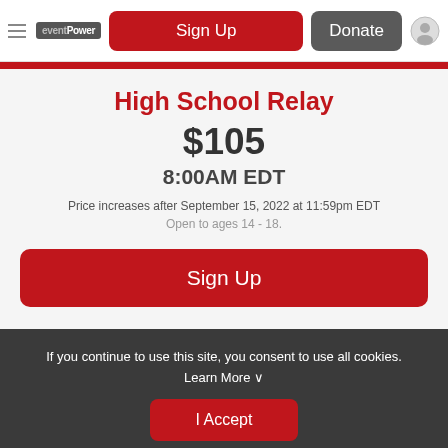eventPower — Sign Up | Donate
High School Relay
$105
8:00AM EDT
Price increases after September 15, 2022 at 11:59pm EDT
Open to ages 14 - 18.
Sign Up
If you continue to use this site, you consent to use all cookies. Learn More ∨
I Accept